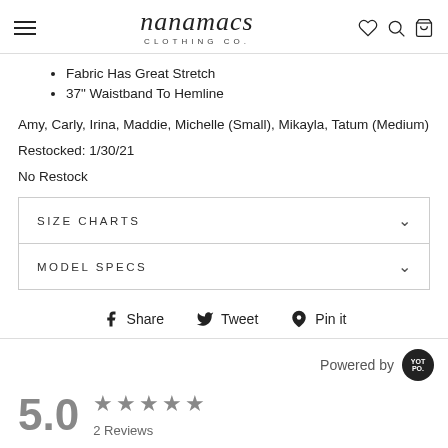nanamacs CLOTHING CO.
Fabric Has Great Stretch
37" Waistband To Hemline
Amy, Carly, Irina, Maddie, Michelle (Small), Mikayla, Tatum (Medium)
Restocked: 1/30/21
No Restock
| SIZE CHARTS | MODEL SPECS |
| --- | --- |
Share   Tweet   Pin it
Powered by YOTPO
5.0 ★★★★★ 2 Reviews